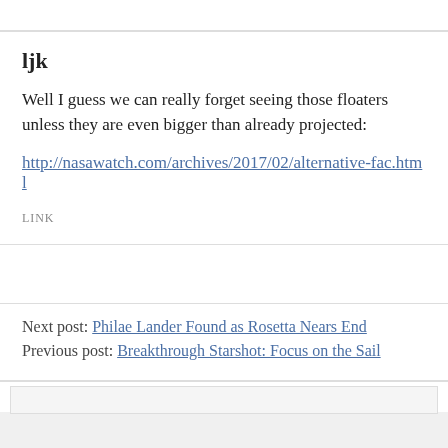ljk
Well I guess we can really forget seeing those floaters unless they are even bigger than already projected:
http://nasawatch.com/archives/2017/02/alternative-fac.html
LINK
Next post: Philae Lander Found as Rosetta Nears End
Previous post: Breakthrough Starshot: Focus on the Sail